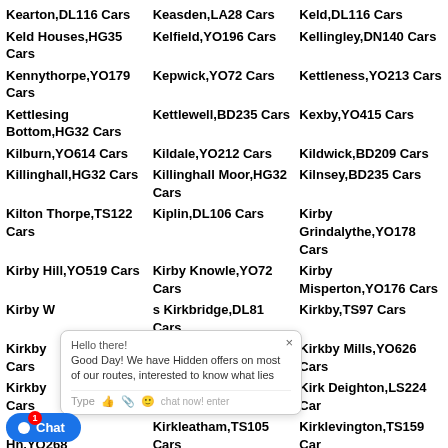Kearton,DL116 Cars
Keasden,LA28 Cars
Keld,DL116 Cars
Keld Houses,HG35 Cars
Kelfield,YO196 Cars
Kellingley,DN140 Cars
Kennythorpe,YO179 Cars
Kepwick,YO72 Cars
Kettleness,YO213 Cars
Kettlesing Bottom,HG32 Cars
Kettlewell,BD235 Cars
Kexby,YO415 Cars
Kilburn,YO614 Cars
Kildale,YO212 Cars
Kildwick,BD209 Cars
Killinghall,HG32 Cars
Killinghall Moor,HG32 Cars
Kilnsey,BD235 Cars
Kilton Thorpe,TS122 Cars
Kiplin,DL106 Cars
Kirby Grindalythe,YO178 Cars
Kirby Hill,YO519 Cars
Kirby Knowle,YO72 Cars
Kirby Misperton,YO176 Cars
Kirby Wiske Cars
Kirkbridge,DL81 Cars
Kirkby,TS97 Cars
Kirkby Fleetham Cars
Kirkby Malzeard,HG43 Cars
Kirkby Mills,YO626 Cars
Kirkby Overblow Cars
Kirkby Wharfe,LS249 Cars
Kirk Deighton,LS224 Cars
Kirk Hammerton,YO268 Cars
Kirkleatham,TS105 Cars
Kirklevington,TS159 Cars